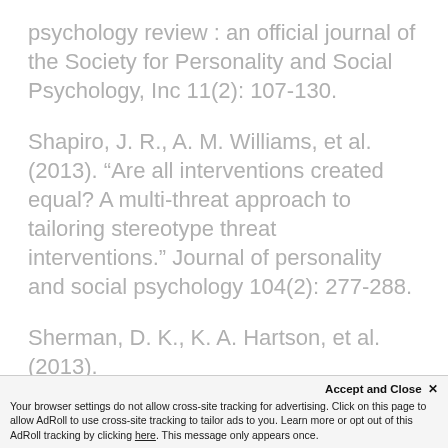psychology review : an official journal of the Society for Personality and Social Psychology, Inc 11(2): 107-130.
Shapiro, J. R., A. M. Williams, et al. (2013). “Are all interventions created equal? A multi-threat approach to tailoring stereotype threat interventions.” Journal of personality and social psychology 104(2): 277-288.
Sherman, D. K., K. A. Hartson, et al. (2013).
Accept and Close ×
Your browser settings do not allow cross-site tracking for advertising. Click on this page to allow AdRoll to use cross-site tracking to tailor ads to you. Learn more or opt out of this AdRoll tracking by clicking here. This message only appears once.